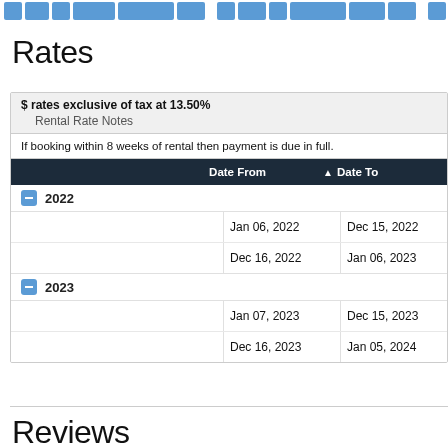[Figure (other): Navigation tab bar with blue segments at top of page]
Rates
$ rates exclusive of tax at 13.50%
Rental Rate Notes
If booking within 8 weeks of rental then payment is due in full.
|  | Date From | ▲ | Date To |
| --- | --- | --- | --- |
| 2022 (group) |  |  |  |
|  | Jan 06, 2022 |  | Dec 15, 2022 |
|  | Dec 16, 2022 |  | Jan 06, 2023 |
| 2023 (group) |  |  |  |
|  | Jan 07, 2023 |  | Dec 15, 2023 |
|  | Dec 16, 2023 |  | Jan 05, 2024 |
Reviews